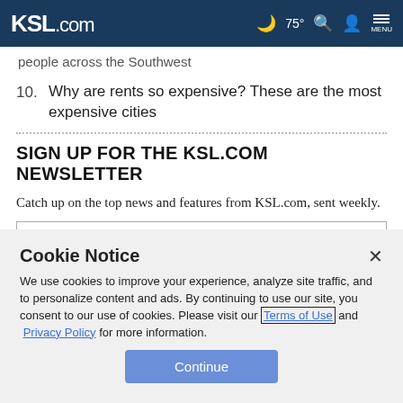KSL.com — 75° Search Account Menu
people across the Southwest
10. Why are rents so expensive? These are the most expensive cities
SIGN UP FOR THE KSL.COM NEWSLETTER
Catch up on the top news and features from KSL.com, sent weekly.
Cookie Notice
We use cookies to improve your experience, analyze site traffic, and to personalize content and ads. By continuing to use our site, you consent to our use of cookies. Please visit our Terms of Use and Privacy Policy for more information.
Continue